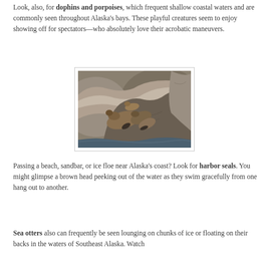Look, also, for dolphins and porpoises, which frequent shallow coastal waters and are commonly seen throughout Alaska's bays. These playful creatures seem to enjoy showing off for spectators—who absolutely love their acrobatic maneuvers.
[Figure (photo): Sea lions resting on large rocks near the water's edge in Alaska]
Passing a beach, sandbar, or ice floe near Alaska's coast? Look for harbor seals. You might glimpse a brown head peeking out of the water as they swim gracefully from one hang out to another.
Sea otters also can frequently be seen lounging on chunks of ice or floating on their backs in the waters of Southeast Alaska. Watch